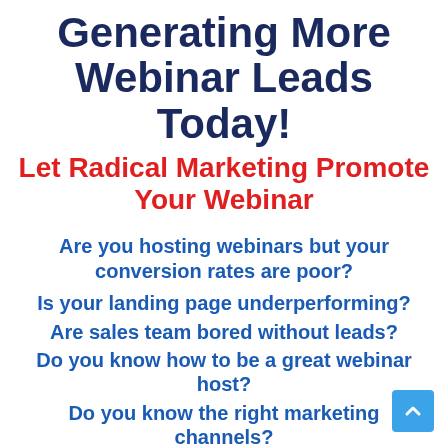Generating More Webinar Leads Today!
Let Radical Marketing Promote Your Webinar
Are you hosting webinars but your conversion rates are poor?
Is your landing page underperforming?
Are sales team bored without leads?
Do you know how to be a great webinar host?
Do you know the right marketing channels?
Do you have the right marketing tools?